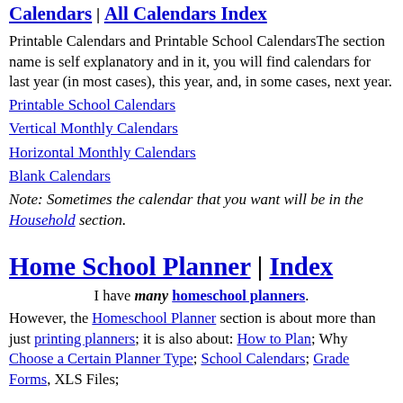Calendars | All Calendars Index
Printable Calendars and Printable School CalendarsThe section name is self explanatory and in it, you will find calendars for last year (in most cases), this year, and, in some cases, next year.
Printable School Calendars
Vertical Monthly Calendars
Horizontal Monthly Calendars
Blank Calendars
Note: Sometimes the calendar that you want will be in the Household section.
Home School Planner | Index
I have many homeschool planners. However, the Homeschool Planner section is about more than just printing planners; it is also about: How to Plan; Why Choose a Certain Planner Type; School Calendars; Grade Forms, XLS Files;